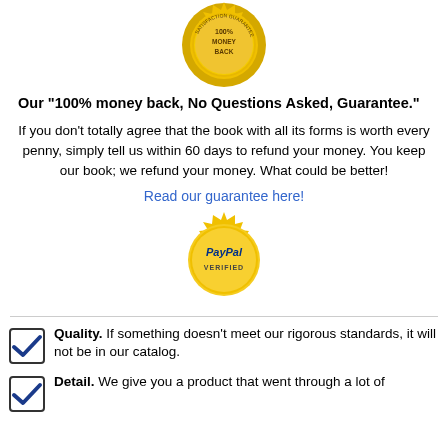[Figure (illustration): Gold seal badge with text '100% MONEY BACK' and 'SATISFACTION GUARANTEED' around the edge]
Our "100% money back, No Questions Asked, Guarantee."
If you don't totally agree that the book with all its forms is worth every penny, simply tell us within 60 days to refund your money. You keep our book; we refund your money. What could be better!
Read our guarantee here!
[Figure (logo): Gold seal badge with 'PayPal VERIFIED' text]
Quality. If something doesn't meet our rigorous standards, it will not be in our catalog.
Detail. We give you a product that went through a lot of